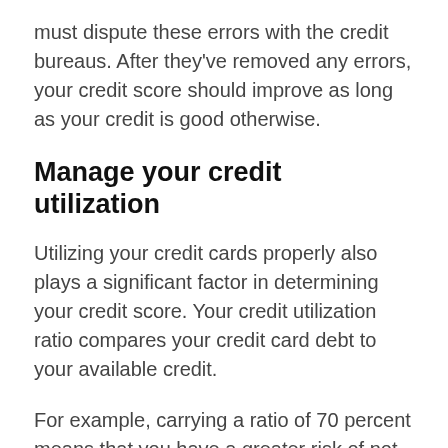must dispute these errors with the credit bureaus. After they've removed any errors, your credit score should improve as long as your credit is good otherwise.
Manage your credit utilization
Utilizing your credit cards properly also plays a significant factor in determining your credit score. Your credit utilization ratio compares your credit card debt to your available credit.
For example, carrying a ratio of 70 percent means that you have a greater risk of not paying off your debt.